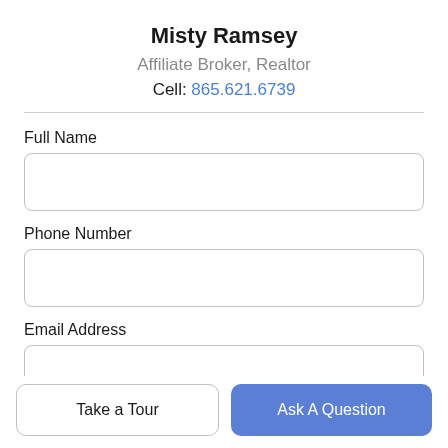Misty Ramsey
Affiliate Broker, Realtor
Cell: 865.621.6739
Full Name
Phone Number
Email Address
What would you like to know?
Take a Tour
Ask A Question